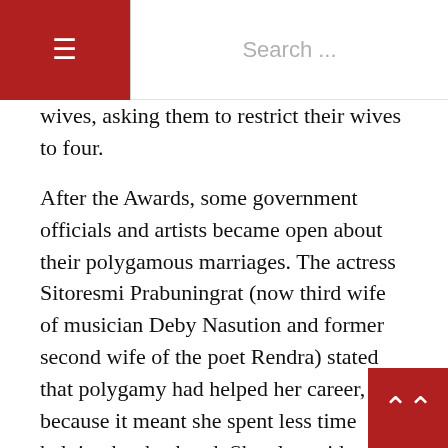≡  Search ...
wives, asking them to restrict their wives to four.
After the Awards, some government officials and artists became open about their polygamous marriages. The actress Sitoresmi Prabuningrat (now third wife of musician Deby Nasution and former second wife of the poet Rendra) stated that polygamy had helped her career, because it meant she spent less time helping her husband. She also said polygamy was a solution when the number of women exceeded men. Yet data from the 2000 census shows there are slightly more males over the age of five than females: if some men practise polygamy, other men may not be able to marry even one woman!